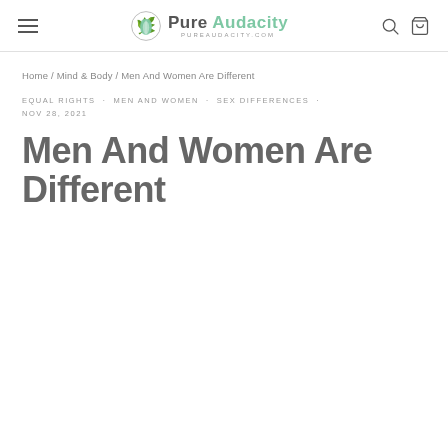Pure Audacity PUREAUDACITY.COM
Home / Mind & Body / Men And Women Are Different
EQUAL RIGHTS · MEN AND WOMEN · SEX DIFFERENCES · NOV 28, 2021
Men And Women Are Different